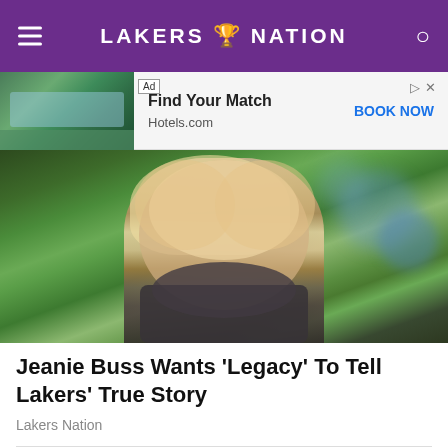LAKERS NATION
[Figure (photo): Advertisement banner: hotels.com 'Find Your Match' with image of tropical resort pool surrounded by trees, with BOOK NOW call to action]
[Figure (photo): Portrait photo of Jeanie Buss, blonde woman smiling, wearing a dark blazer with gold Lakers pin buttons and black turtleneck, photographed outdoors with blurred greenery background]
Jeanie Buss Wants 'Legacy' To Tell Lakers' True Story
Lakers Nation